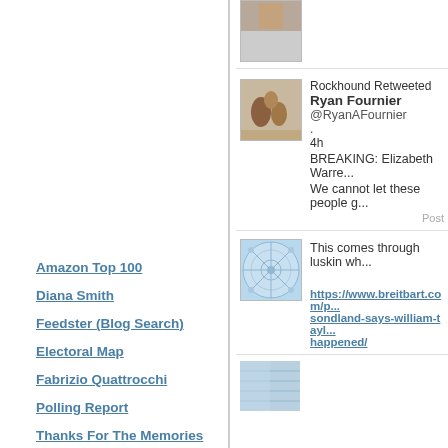Amazon Top 100
Diana Smith
Feedster (Blog Search)
Electoral Map
Fabrizio Quattrocchi
Polling Report
Thanks For The Memories
Just A Gigolo
John Kerry's Principled Positions
CIA Fact Book
Economist Countries
Google - Site
TypePad
Google
Rockhound Retweeted Ryan Fournier @RyanAFournier . 4h BREAKING: Elizabeth Warre... We cannot let these people g... Post
This comes through luskin wh... https://www.breitbart.com/p...sondland-says-william-tayl...happened/